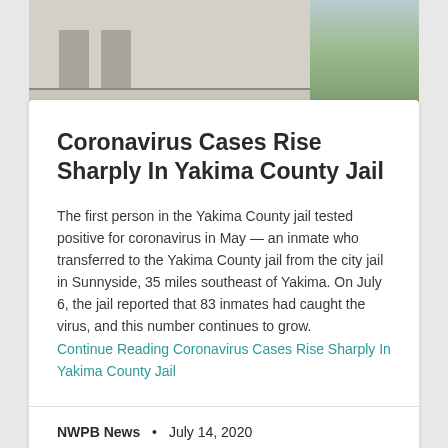[Figure (photo): Exterior photo of a building (jail) with a white/tan concrete wall, security doors, fencing at the bottom, and trees visible on the right side under a blue-grey sky.]
Coronavirus Cases Rise Sharply In Yakima County Jail
The first person in the Yakima County jail tested positive for coronavirus in May — an inmate who transferred to the Yakima County jail from the city jail in Sunnyside, 35 miles southeast of Yakima. On July 6, the jail reported that 83 inmates had caught the virus, and this number continues to grow.
Continue Reading Coronavirus Cases Rise Sharply In Yakima County Jail
NWPB News • July 14, 2020